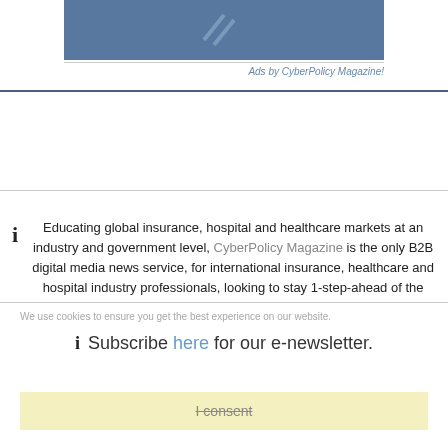[Figure (other): Blue banner advertisement placeholder with diagonal graphic lines]
Ads by CyberPolicy Magazine!
Educating global insurance, hospital and healthcare markets at an industry and government level, CyberPolicy Magazine is the only B2B digital media news service, for international insurance, healthcare and hospital industry professionals, looking to stay 1-step-ahead of the cyber risk whilst protecting business assets and networks.
We use cookies to ensure you get the best experience on our website.
Subscribe here for our e-newsletter.
I consent